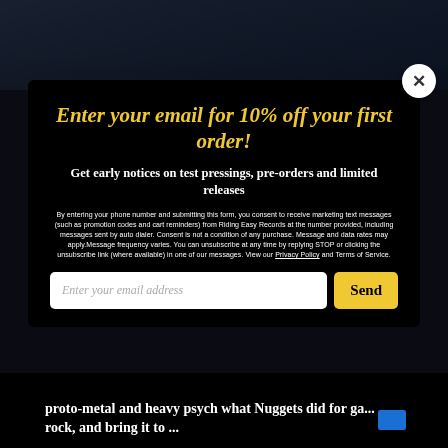[Figure (photo): Dark blurred background image of people, shown at the top of the page behind a modal overlay]
Enter your email for 10% off your first order!
Get early notices on test pressings, pre-orders and limited releases
By entering your phone number and submitting this form, you consent to receive marketing text messages (such as promotion codes and cart reminders) from Riding Easy Records at the number provided, including messages sent by auto dialer. Consent is not a condition of any purchase. Message and data rates may apply. Message frequency varies. You can unsubscribe at any time by replying STOP or clicking the unsubscribe link (where available) in one of our messages. View our Privacy Policy and Terms of Service.
proto-metal and heavy psych what Nuggets did for garage rock, and bring it to ...